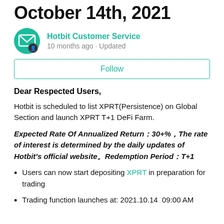October 14th, 2021
Hotbit Customer Service
10 months ago · Updated
Follow
Dear Respected Users,
Hotbit is scheduled to list XPRT(Persistence) on Global Section and launch XPRT T+1 DeFi Farm.
Expected Rate Of Annualized Return：30+%，The rate of interest is determined by the daily updates of Hotbit's official website。Redemption Period：T+1
Users can now start depositing XPRT in preparation for trading
Trading function launches at: 2021.10.14  09:00 AM